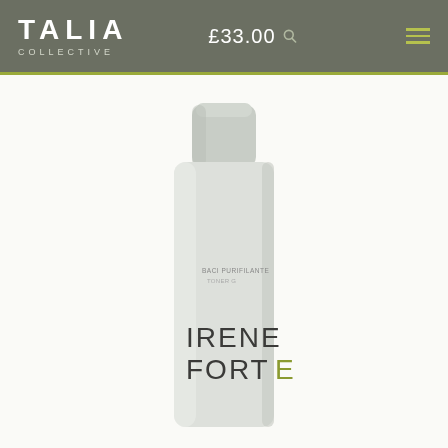TALIA COLLECTIVE — £33.00
[Figure (photo): A tall white cylindrical bottle with a rounded cap, branded with 'IRENE FORTE' in large modern letters on the lower half. Small text label visible in the middle of the bottle.]